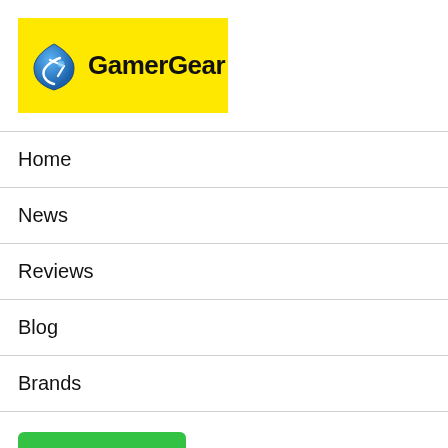[Figure (logo): GamerGear logo: yellow background rectangle with a blue shield/teardrop icon and bold black text 'GamerGear']
Home
News
Reviews
Blog
Brands
Find Device
CoolerMaster Recon